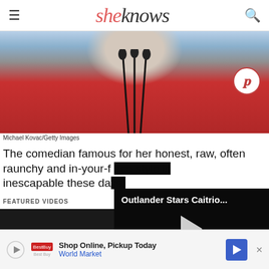sheknows
[Figure (photo): Woman in red dress at microphone stands, arms raised. Pinterest save button overlay.]
Michael Kovac/Getty Images
The comedian famous for her honest, raw, often raunchy and in-your-f... inescapable these da...
FEATURED VIDEOS
[Figure (screenshot): Featured video panel - dark/black background video thumbnail on left]
[Figure (screenshot): Outlander Stars Caitrio... video panel with play button on right]
[Figure (screenshot): Advertisement bar: Shop Online, Pickup Today - World Market]